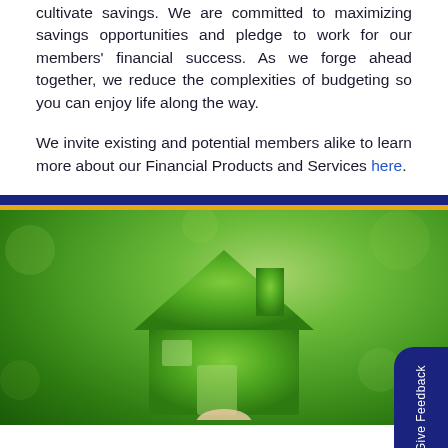cultivate savings. We are committed to maximizing savings opportunities and pledge to work for our members' financial success. As we forge ahead together, we reduce the complexities of budgeting so you can enjoy life along the way.
We invite existing and potential members alike to learn more about our Financial Products and Services here.
[Figure (photo): A green grass-covered house shape held by fingers against a blurred green garden background, symbolizing eco-friendly home ownership.]